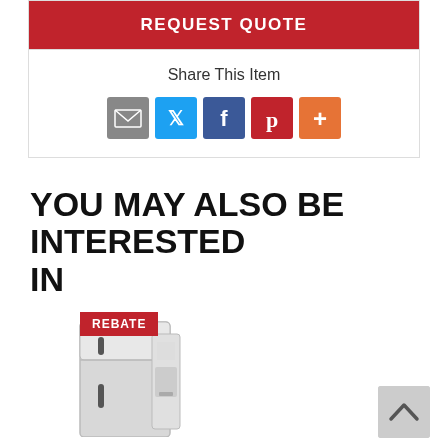REQUEST QUOTE
Share This Item
[Figure (infographic): Social sharing icons: email (gray), Twitter (blue bird), Facebook (blue f), Pinterest (red P), More (orange +)]
YOU MAY ALSO BE INTERESTED IN
[Figure (photo): Product image of a refrigerator with a red REBATE badge in the top-left corner]
[Figure (other): Scroll-to-top button with upward arrow, gray background]